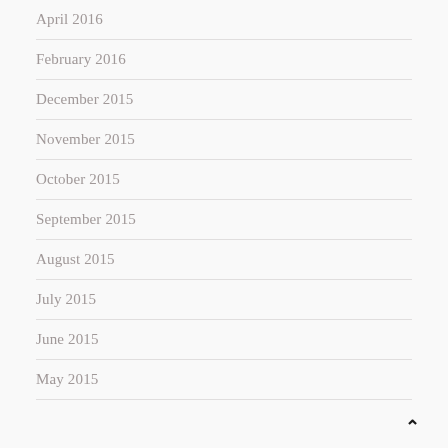April 2016
February 2016
December 2015
November 2015
October 2015
September 2015
August 2015
July 2015
June 2015
May 2015